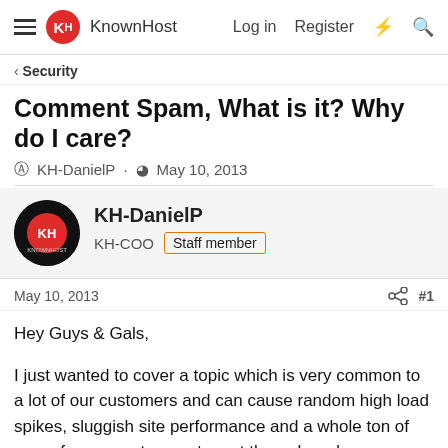KnownHost — Log in  Register
Security
Comment Spam, What is it? Why do I care?
KH-DanielP · May 10, 2013
KH-DanielP
KH-COO  Staff member
May 10, 2013  #1
Hey Guys & Gals,

I just wanted to cover a topic which is very common to a lot of our customers and can cause random high load spikes, sluggish site performance and a whole ton of spam for our customers to sort through and delete from their sites.